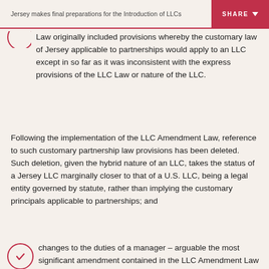Jersey makes final preparations for the Introduction of LLCs
Law originally included provisions whereby the customary law of Jersey applicable to partnerships would apply to an LLC except in so far as it was inconsistent with the express provisions of the LLC Law or nature of the LLC.
Following the implementation of the LLC Amendment Law, reference to such customary partnership law provisions has been deleted. Such deletion, given the hybrid nature of an LLC, takes the status of a Jersey LLC marginally closer to that of a U.S. LLC, being a legal entity governed by statute, rather than implying the customary principals applicable to partnerships; and
changes to the duties of a manager – arguable the most significant amendment contained in the LLC Amendment Law is the amendment of the fiduciary duties for...